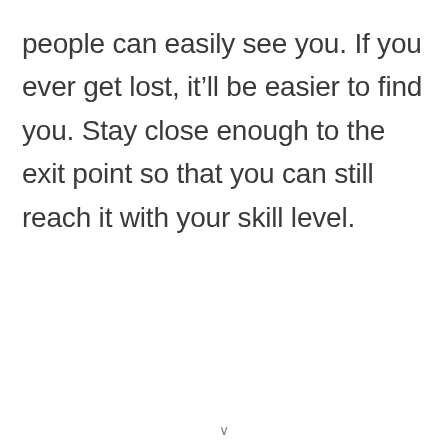people can easily see you. If you ever get lost, it'll be easier to find you. Stay close enough to the exit point so that you can still reach it with your skill level.
v